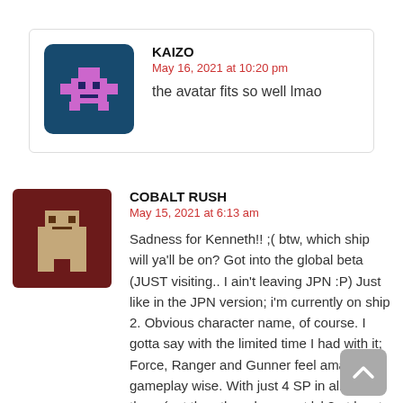[Figure (illustration): Pixel art avatar of a pink space-invader style character on a dark blue background]
KAIZO
May 16, 2021 at 10:20 pm
the avatar fits so well lmao
[Figure (illustration): Pixel art avatar of a tan/beige character on a dark red background]
COBALT RUSH
May 15, 2021 at 6:13 am
Sadness for Kenneth!! ;( btw, which ship will ya'll be on? Got into the global beta (JUST visiting.. I ain't leaving JPN :P) Just like in the JPN version; i'm currently on ship 2. Obvious character name, of course. I gotta say with the limited time I had with it; Force, Ranger and Gunner feel amazing gameplay wise. With just 4 SP in all of them (got the other classes at lvl 8 at least, but these 3 in